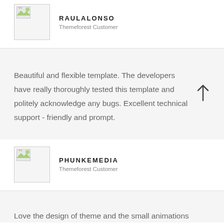[Figure (photo): Avatar image placeholder for RAULALONSO]
RAULALONSO
Themeforest Customer
Beautiful and flexible template. The developers have really thoroughly tested this template and politely acknowledge any bugs. Excellent technical support - friendly and prompt.
[Figure (photo): Avatar image placeholder for PHUNKEMEDIA]
PHUNKEMEDIA
Themeforest Customer
Love the design of theme and the small animations